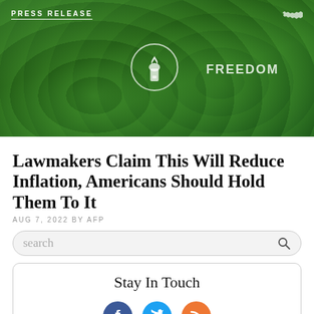[Figure (photo): Green-tinted hero banner image showing a crowd wearing green 'FREEDOM' shirts, with AFP logo (torch in circle) overlaid. 'PRESS RELEASE' label in top-left, US map icon in top-right.]
Lawmakers Claim This Will Reduce Inflation, Americans Should Hold Them To It
AUG 7, 2022 BY AFP
search
Stay In Touch